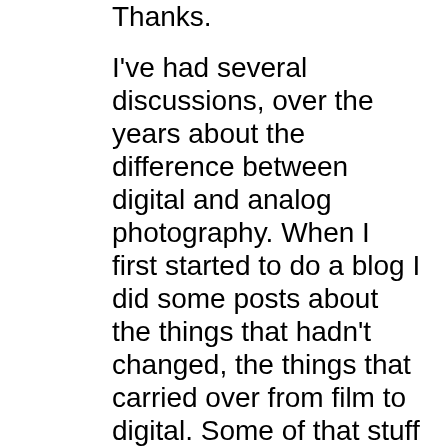Thanks.
I've had several discussions, over the years about the difference between digital and analog photography. When I first started to do a blog I did some posts about the things that hadn't changed, the things that carried over from film to digital. Some of that stuff is in this article: file:///Users/siskin/Downloads/basic-1.pdf. This made the